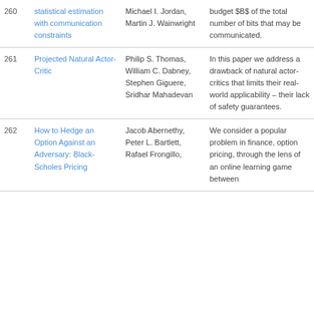| # | Title | Authors | Abstract |
| --- | --- | --- | --- |
| 260 | statistical estimation with communication constraints | Michael I. Jordan, Martin J. Wainwright | budget $B$ of the total number of bits that may be communicated. |
| 261 | Projected Natural Actor-Critic | Philip S. Thomas, William C. Dabney, Stephen Giguere, Sridhar Mahadevan | In this paper we address a drawback of natural actor-critics that limits their real-world applicability – their lack of safety guarantees. |
| 262 | How to Hedge an Option Against an Adversary: Black-Scholes Pricing | Jacob Abernethy, Peter L. Bartlett, Rafael Frongillo, | We consider a popular problem in finance, option pricing, through the lens of an online learning game between |